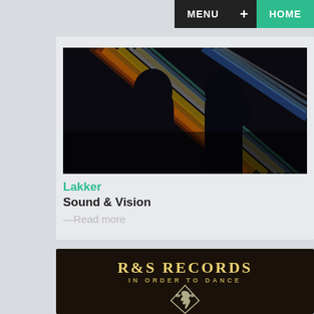MENU + HOME
[Figure (photo): Two silhouetted head profiles facing each other against a dark background with colorful light beams (orange, yellow, blue, green) creating an abstract visual effect]
Lakker
Sound & Vision
—Read more
[Figure (photo): R&S Records 'In Order to Dance' label artwork — dark brown background with cream/gold text 'R&S RECORDS' and 'IN ORDER TO DANCE', and a white pegasus/horse logo beneath]